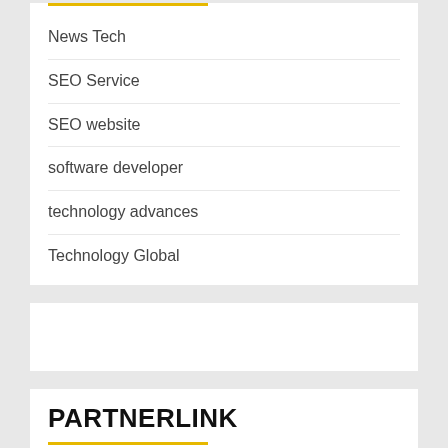News Tech
SEO Service
SEO website
software developer
technology advances
Technology Global
PARTNERLINK
[Figure (logo): Intellifluence Trusted Blogger badge - circular blue badge with gold ribbon banner]